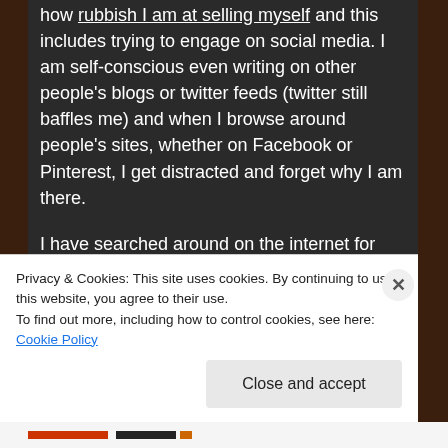how rubbish I am at selling myself and this includes trying to engage on social media. I am self-conscious even writing on other people's blogs or twitter feeds (twitter still baffles me) and when I browse around people's sites, whether on Facebook or Pinterest, I get distracted and forget why I am there.
I have searched around on the internet for advice, but it has been difficult to find a cohesive plan for things you can and should do to help market your book. Until I recently found this great post on the Lulu blog, with a timeline of things to do before you publish.
It is set 18 months before launch and covers...
Privacy & Cookies: This site uses cookies. By continuing to use this website, you agree to their use.
To find out more, including how to control cookies, see here: Cookie Policy
Close and accept